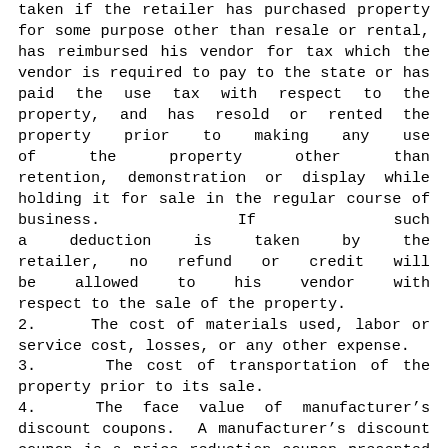taken if the retailer has purchased property for some purpose other than resale or rental, has reimbursed his vendor for tax which the vendor is required to pay to the state or has paid the use tax with respect to the property, and has resold or rented the property prior to making any use of the property other than retention, demonstration or display while holding it for sale in the regular course of business. If such a deduction is taken by the retailer, no refund or credit will be allowed to his vendor with respect to the sale of the property.
2.   The cost of materials used, labor or service cost, losses, or any other expense.
3.   The cost of transportation of the property prior to its sale.
4.  The face value of manufacturer’s discount coupons.  A manufacturer’s discount coupon is a price reduction coupon presented by a consumer to a retailer  upon  purchase  of  a manufacturer’s  product,  the  face